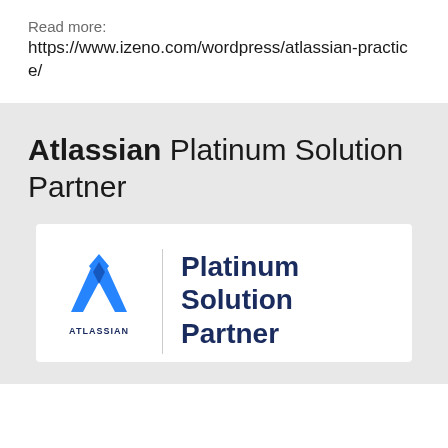Read more:
https://www.izeno.com/wordpress/atlassian-practice/
Atlassian Platinum Solution Partner
[Figure (logo): Atlassian Platinum Solution Partner logo: Atlassian triangle logo on the left with a vertical divider, and 'Platinum Solution Partner' text in navy blue on the right, with 'ATLASSIAN' label below the logo]